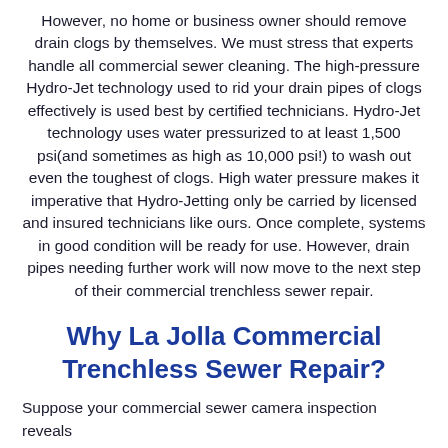However, no home or business owner should remove drain clogs by themselves. We must stress that experts handle all commercial sewer cleaning. The high-pressure Hydro-Jet technology used to rid your drain pipes of clogs effectively is used best by certified technicians. Hydro-Jet technology uses water pressurized to at least 1,500 psi(and sometimes as high as 10,000 psi!) to wash out even the toughest of clogs. High water pressure makes it imperative that Hydro-Jetting only be carried by licensed and insured technicians like ours. Once complete, systems in good condition will be ready for use. However, drain pipes needing further work will now move to the next step of their commercial trenchless sewer repair.
Why La Jolla Commercial Trenchless Sewer Repair?
Suppose your commercial sewer camera inspection reveals